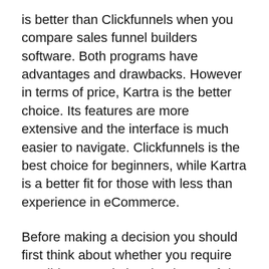is better than Clickfunnels when you compare sales funnel builders software. Both programs have advantages and drawbacks. However in terms of price, Kartra is the better choice. Its features are more extensive and the interface is much easier to navigate. Clickfunnels is the best choice for beginners, while Kartra is a better fit for those with less than experience in eCommerce.
Before making a decision you should first think about whether you require an all-in-one solution that is top-of-the-line, or a simple sales funnel creator. While ClickFunnels is an all-in one platform, Kartra has more features and tools. Kartra offers, for instance, offers helpdesks and calendars. Kartra also has